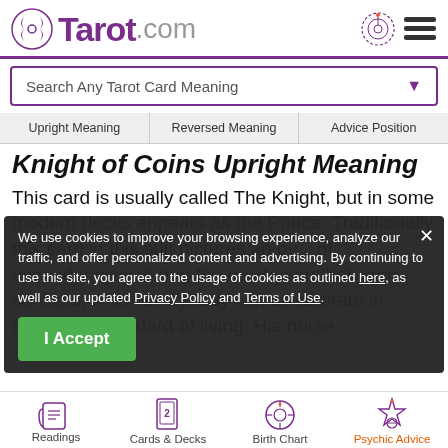Tarot.com
Search Any Tarot Card Meaning
Upright Meaning   Reversed Meaning   Advice Position
Knight of Coins Upright Meaning
This card is usually called The Knight, but in some modern decks appears as the Prince. Traditionally this card in this suit pictures an ov... of ascendancy is during the quiet years between conflicts, when everybody can collaborate in ra... ective standard of living. His horse
We use cookies to improve your browsing experience, analyze our traffic, and offer personalized content and advertising. By continuing to use this site, you agree to the usage of cookies as outlined here, as well as our updated Privacy Policy and Terms of Use.
I Accept
Readings   Cards & Decks   Birth Chart   Psychic Advice